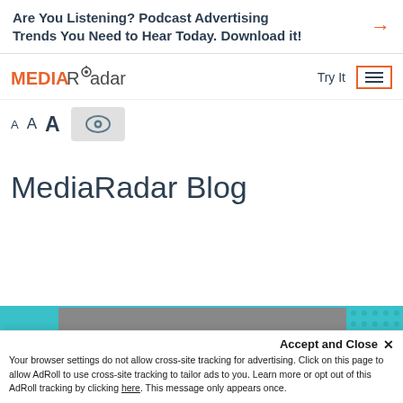Are You Listening? Podcast Advertising Trends You Need to Hear Today. Download it!
[Figure (logo): MEDIARadar logo with orange MEDIA text and dark Radar text with radar icon]
Try It
[Figure (screenshot): Hamburger menu icon inside orange bordered box]
[Figure (screenshot): Accessibility font size controls: small A, medium A, large A, and eye icon in gray box]
MediaRadar Blog
[Figure (photo): Partial image with teal/cyan background and dark photo content]
Accept and Close ✕
Your browser settings do not allow cross-site tracking for advertising. Click on this page to allow AdRoll to use cross-site tracking to tailor ads to you. Learn more or opt out of this AdRoll tracking by clicking here. This message only appears once.